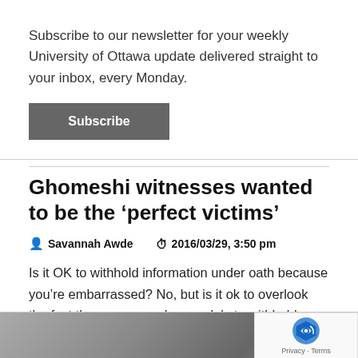Subscribe to our newsletter for your weekly University of Ottawa update delivered straight to your inbox, every Monday.
Subscribe
Ghomeshi witnesses wanted to be the ‘perfect victims’
Savannah Awde   2016/03/29, 3:50 pm
Is it OK to withhold information under oath because you’re embarrassed? No, but is it ok to overlook the fact these women chose solely to withhold information that doesn’t fit the ‘socially valid’ abuse victim profile? Certainly not.
[Figure (photo): Black and white photo, partially visible, showing a person and text @cfcmedialab in background]